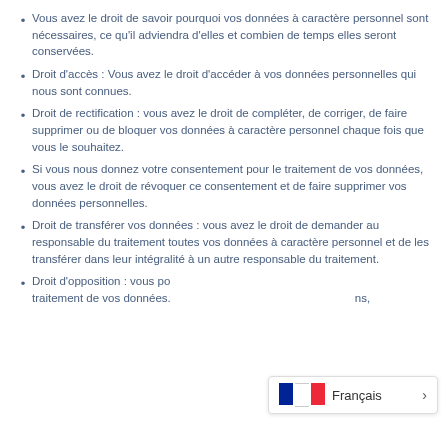Vous avez le droit de savoir pourquoi vos données à caractère personnel sont nécessaires, ce qu'il adviendra d'elles et combien de temps elles seront conservées.
Droit d'accès : Vous avez le droit d'accéder à vos données personnelles qui nous sont connues.
Droit de rectification : vous avez le droit de compléter, de corriger, de faire supprimer ou de bloquer vos données à caractère personnel chaque fois que vous le souhaitez.
Si vous nous donnez votre consentement pour le traitement de vos données, vous avez le droit de révoquer ce consentement et de faire supprimer vos données personnelles.
Droit de transférer vos données : vous avez le droit de demander au responsable du traitement toutes vos données à caractère personnel et de les transférer dans leur intégralité à un autre responsable du traitement.
Droit d'opposition : vous po... traitement de vos données. ...ns,